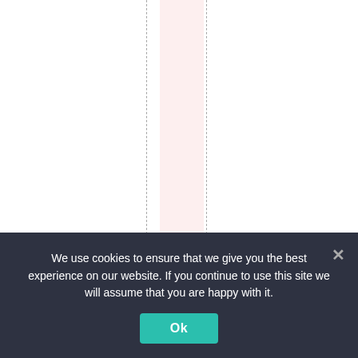[Figure (other): Page layout with vertical dashed lines, a pink vertical band, and vertical text reading 'och ,inhisbookDoubl']
We use cookies to ensure that we give you the best experience on our website. If you continue to use this site we will assume that you are happy with it.
Ok